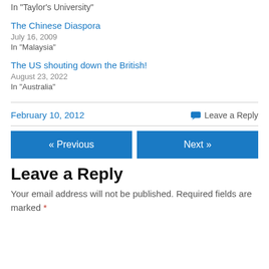In "Taylor's University"
The Chinese Diaspora
July 16, 2009
In "Malaysia"
The US shouting down the British!
August 23, 2022
In "Australia"
February 10, 2012
Leave a Reply
« Previous
Next »
Leave a Reply
Your email address will not be published. Required fields are marked *